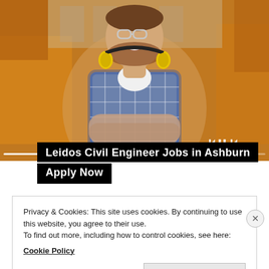[Figure (photo): Construction worker or engineer smiling with arms crossed, wearing a plaid shirt, safety glasses on head, and yellow ear protection headphones around neck. Industrial/construction background with orange machinery. Media player controls visible at bottom right.]
Leidos Civil Engineer Jobs in Ashburn
Apply Now
Privacy & Cookies: This site uses cookies. By continuing to use this website, you agree to their use.
To find out more, including how to control cookies, see here:
Cookie Policy
Close and accept